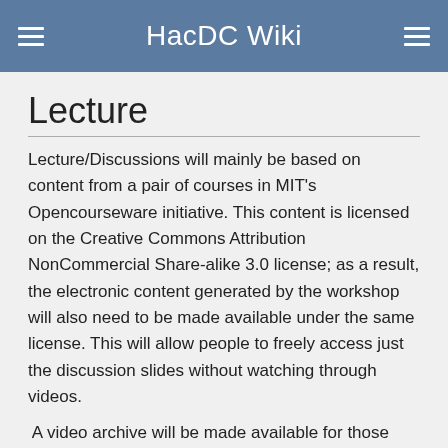HacDC Wiki
Lecture
Lecture/Discussions will mainly be based on content from a pair of courses in MIT's Opencourseware initiative. This content is licensed on the Creative Commons Attribution NonCommercial Share-alike 3.0 license; as a result, the electronic content generated by the workshop will also need to be made available under the same license. This will allow people to freely access just the discussion slides without watching through videos.
A video archive will be made available for those unable to attend.  They are available here here.
List of Lectures
An archival list of lectures, including presentations and